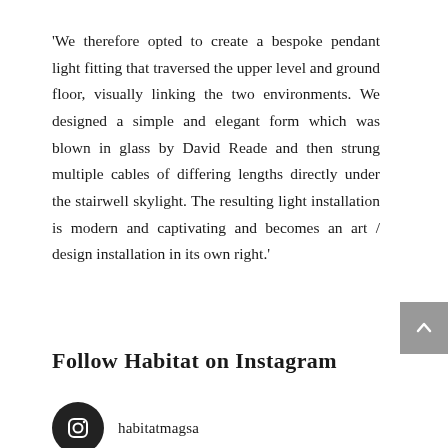'We therefore opted to create a bespoke pendant light fitting that traversed the upper level and ground floor, visually linking the two environments. We designed a simple and elegant form which was blown in glass by David Reade and then strung multiple cables of differing lengths directly under the stairwell skylight. The resulting light installation is modern and captivating and becomes an art / design installation in its own right.'
Follow Habitat on Instagram
habitatmagsa